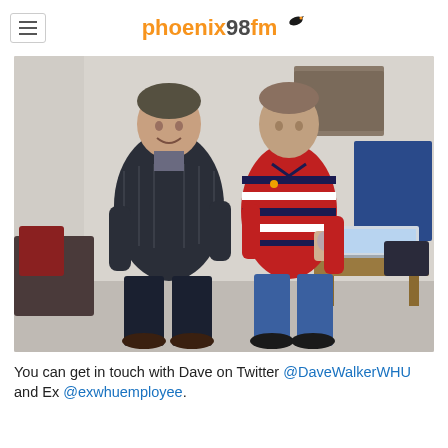phoenix98fm
[Figure (photo): Two men standing together posing for a photo inside what appears to be a radio studio or office. The man on the left is wearing a dark puffer jacket and dark jeans. The man on the right is wearing a red and white striped polo shirt and blue jeans with a tattoo visible on his arm. In the background there is a sofa, acoustic panels, a blue noticeboard, and a wooden table with a laptop.]
You can get in touch with Dave on Twitter @DaveWalkerWHU and Ex @exwhuemployee.